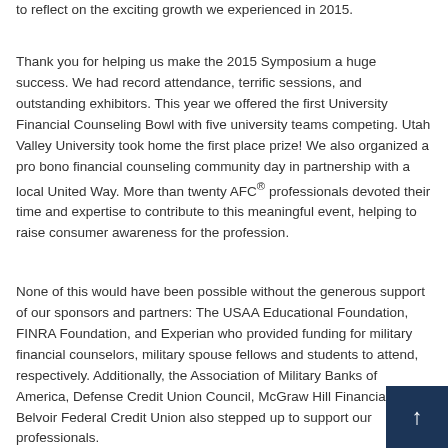to reflect on the exciting growth we experienced in 2015.
Thank you for helping us make the 2015 Symposium a huge success. We had record attendance, terrific sessions, and outstanding exhibitors. This year we offered the first University Financial Counseling Bowl with five university teams competing. Utah Valley University took home the first place prize! We also organized a pro bono financial counseling community day in partnership with a local United Way. More than twenty AFC® professionals devoted their time and expertise to contribute to this meaningful event, helping to raise consumer awareness for the profession.
None of this would have been possible without the generous support of our sponsors and partners: The USAA Educational Foundation, FINRA Foundation, and Experian who provided funding for military financial counselors, military spouse fellows and students to attend, respectively. Additionally, the Association of Military Banks of America, Defense Credit Union Council, McGraw Hill Financial, and Belvoir Federal Credit Union also stepped up to support our professionals.